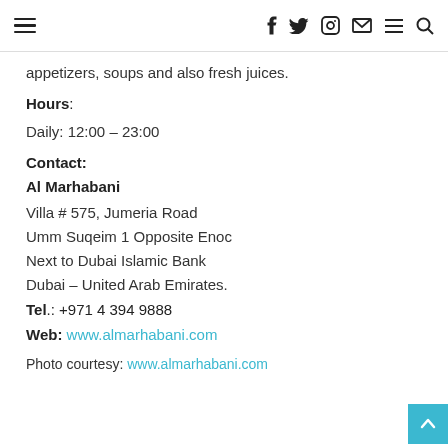Navigation header with hamburger menu icon and social/nav icons (Facebook, Twitter, Instagram, Email, Menu, Search)
appetizers, soups and also fresh juices.
Hours:
Daily: 12:00 – 23:00
Contact:
Al Marhabani
Villa # 575, Jumeria Road
Umm Suqeim 1 Opposite Enoc
Next to Dubai Islamic Bank
Dubai – United Arab Emirates.
Tel.: +971 4 394 9888
Web: www.almarhabani.com
Photo courtesy: www.almarhabani.com